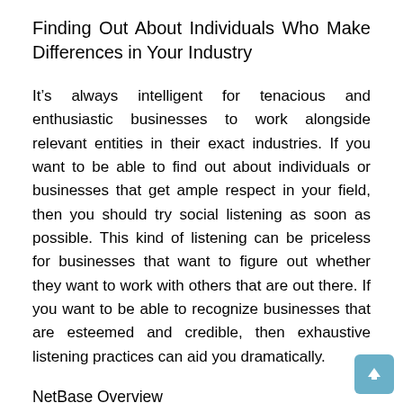Finding Out About Individuals Who Make Differences in Your Industry
It’s always intelligent for tenacious and enthusiastic businesses to work alongside relevant entities in their exact industries. If you want to be able to find out about individuals or businesses that get ample respect in your field, then you should try social listening as soon as possible. This kind of listening can be priceless for businesses that want to figure out whether they want to work with others that are out there. If you want to be able to recognize businesses that are esteemed and credible, then exhaustive listening practices can aid you dramatically.
NetBase Overview
NetBase is a business that calls Mountain View, California its